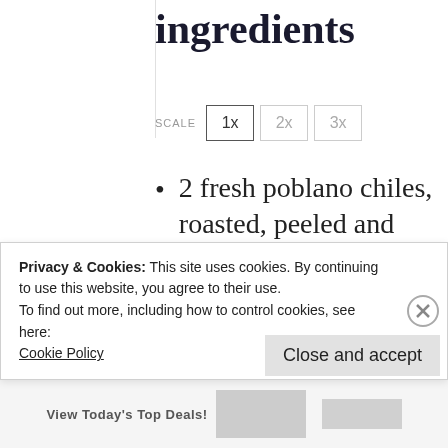ingredients
SCALE 1x 2x 3x
2 fresh poblano chiles, roasted, peeled and seeded
1 jalapeno, roasted, peeled and seeded, optional
Privacy & Cookies: This site uses cookies. By continuing to use this website, you agree to their use.
To find out more, including how to control cookies, see here:
Cookie Policy
Close and accept
View Today's Top Deals!